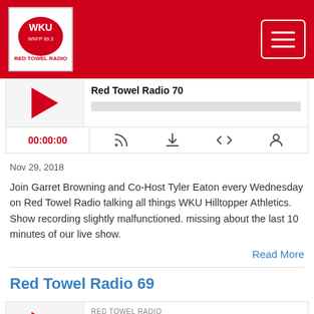WKU Red Towel Radio
[Figure (screenshot): Audio player for Red Towel Radio 70 with play button, progress bar, timestamp 00:00:00, and control icons]
Nov 29, 2018
Join Garret Browning and Co-Host Tyler Eaton every Wednesday on Red Towel Radio talking all things WKU Hilltopper Athletics. Show recording slightly malfunctioned. missing about the last 10 minutes of our live show.
Read More
Red Towel Radio 69
[Figure (screenshot): Audio player for Red Towel Radio 69 with play button, RED TOWEL RADIO label, title, and progress bar]